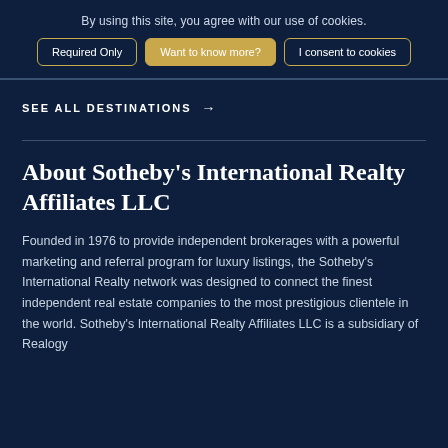By using this site, you agree with our use of cookies.
Required Only | Want to know more? | I consent to cookies
SEE ALL DESTINATIONS →
About Sotheby's International Realty Affiliates LLC
Founded in 1976 to provide independent brokerages with a powerful marketing and referral program for luxury listings, the Sotheby's International Realty network was designed to connect the finest independent real estate companies to the most prestigious clientele in the world. Sotheby's International Realty Affiliates LLC is a subsidiary of Realogy